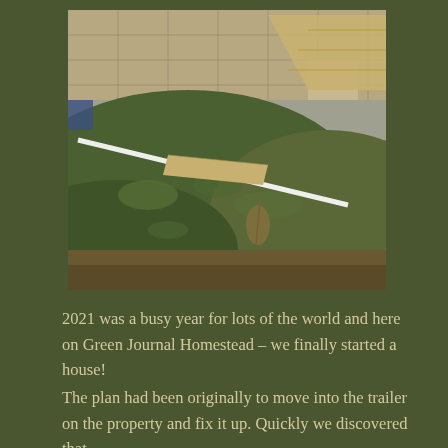[Figure (photo): Outdoor construction site photo showing mounded grassy earth with lumber boards and a white PVC pipe resting on dirt mounds; a building under construction with OSB/plywood sheathing visible in the background, along with gravel and concrete surfaces.]
2021 was a busy year for lots of the world and here on Green Journal Homestead – we finally started a house!
The plan had been originally to move into the trailer on the property and fix it up. Quickly we discovered that